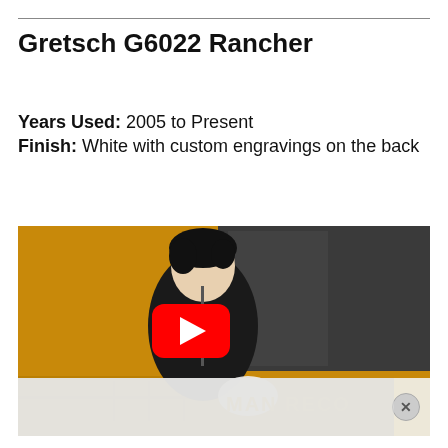Gretsch G6022 Rancher
Years Used: 2005 to Present
Finish: White with custom engravings on the back
[Figure (screenshot): Video thumbnail/embed showing a musician playing a white guitar in front of a yellow school bus with 'MAN RECO' visible. A YouTube red play button overlay is shown in the center. At the bottom is a partially visible advertisement overlay with a close (X) button.]